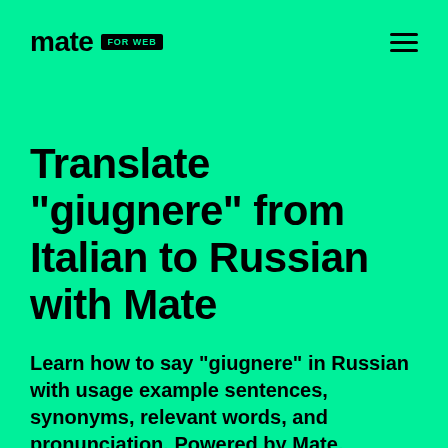mate FOR WEB
Translate "giugnere" from Italian to Russian with Mate
Learn how to say "giugnere" in Russian with usage example sentences, synonyms, relevant words, and pronunciation. Powered by Mate.